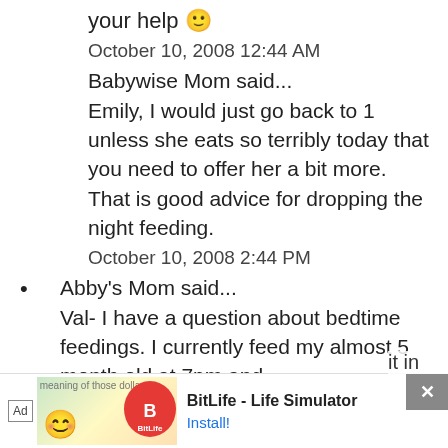your help 😊
October 10, 2008 12:44 AM
Babywise Mom said...
Emily, I would just go back to 1 unless she eats so terribly today that you need to offer her a bit more. That is good advice for dropping the night feeding.
October 10, 2008 2:44 PM
Abby's Mom said...
Val- I have a question about bedtime feedings. I currently feed my almost 5 month old at 7pm and
[Figure (screenshot): Ad banner for BitLife - Life Simulator app with smiley emoji graphic and Install button]